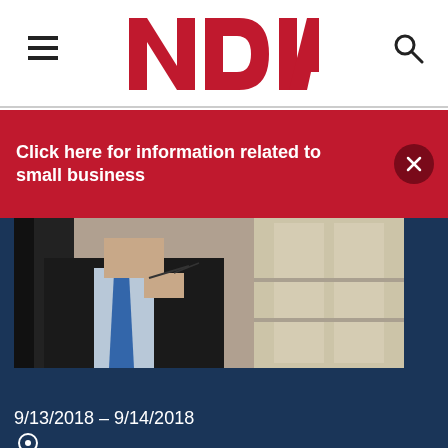[Figure (logo): NDIA logo in red block letters on white header background]
Click here for information related to small business
[Figure (photo): Business man in suit sitting in chair holding glasses, thinking, with building exterior in background]
9/13/2018 – 9/14/2018